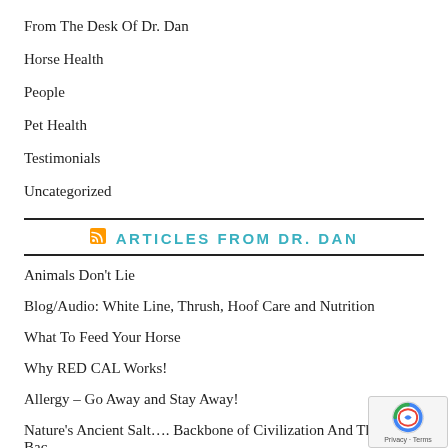From The Desk Of Dr. Dan
Horse Health
People
Pet Health
Testimonials
Uncategorized
ARTICLES FROM DR. DAN
Animals Don't Lie
Blog/Audio: White Line, Thrush, Hoof Care and Nutrition
What To Feed Your Horse
Why RED CAL Works!
Allergy – Go Away and Stay Away!
Nature's Ancient Salt…. Backbone of Civilization And The Backbone of Health